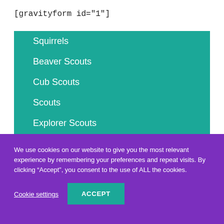[gravityform id="1"]
Squirrels
Beaver Scouts
Cub Scouts
Scouts
Explorer Scouts
Young Leaders
We use cookies on our website to give you the most relevant experience by remembering your preferences and repeat visits. By clicking “Accept”, you consent to the use of ALL the cookies.
Cookie settings
ACCEPT